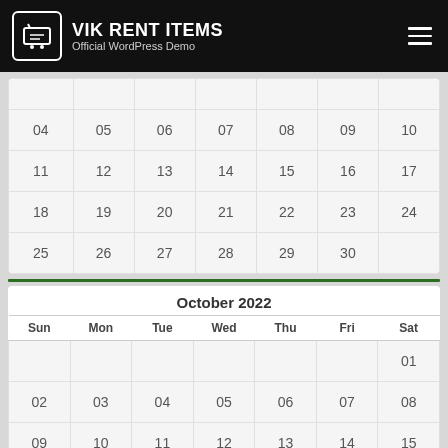VIK RENT ITEMS — Official WordPress Demo
| Sun | Mon | Tue | Wed | Thu | Fri | Sat |
| --- | --- | --- | --- | --- | --- | --- |
|  |  |  |  |  |  |  |
| 04 | 05 | 06 | 07 | 08 | 09 | 10 |
| 11 | 12 | 13 | 14 | 15 | 16 | 17 |
| 18 | 19 | 20 | 21 | 22 | 23 | 24 |
| 25 | 26 | 27 | 28 | 29 | 30 |  |
October 2022
| Sun | Mon | Tue | Wed | Thu | Fri | Sat |
| --- | --- | --- | --- | --- | --- | --- |
|  |  |  |  |  |  | 01 |
| 02 | 03 | 04 | 05 | 06 | 07 | 08 |
| 09 | 10 | 11 | 12 | 13 | 14 | 15 |